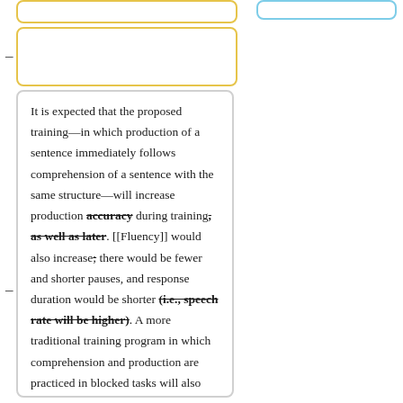(partial yellow box top left - truncated)
(partial blue box top right - truncated)
(second yellow box - truncated content)
It is expected that the proposed training—in which production of a sentence immediately follows comprehension of a sentence with the same structure—will increase production accuracy during training, as well as later. [[Fluency]] would also increase; there would be fewer and shorter pauses, and response duration would be shorter (i.e., speech rate will be higher). A more traditional training program in which comprehension and production are practiced in blocked tasks will also increase accuracy and